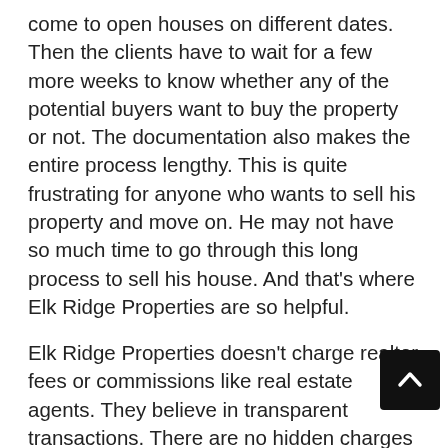come to open houses on different dates. Then the clients have to wait for a few more weeks to know whether any of the potential buyers want to buy the property or not. The documentation also makes the entire process lengthy. This is quite frustrating for anyone who wants to sell his property and move on. He may not have so much time to go through this long process to sell his house. And that's where Elk Ridge Properties are so helpful.
Elk Ridge Properties doesn't charge realtor fees or commissions like real estate agents. They believe in transparent transactions. There are no hidden charges involved. Clients can call them to set up a meeting whenever they want to sell their houses for cash. An Elk Ridge Properties representative will take down the location and a few other details about the house. The owners of the company will check if the house meets their purchase requirements. If they do, they will visit the house on the pre-decided date. The advantage of working with Elk Ridge